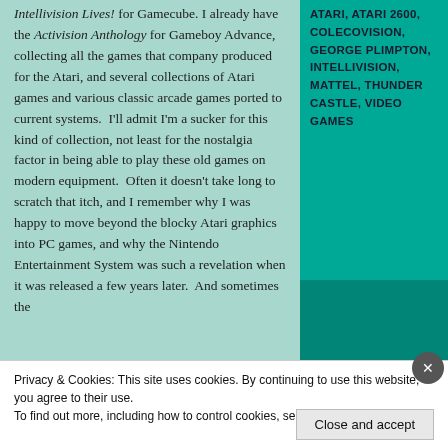Intellivision Lives! for Gamecube. I already have the Activision Anthology for Gameboy Advance, collecting all the games that company produced for the Atari, and several collections of Atari games and various classic arcade games ported to current systems.  I'll admit I'm a sucker for this kind of collection, not least for the nostalgia factor in being able to play these old games on modern equipment.  Often it doesn't take long to scratch that itch, and I remember why I was happy to move beyond the blocky Atari graphics into PC games, and why the Nintendo Entertainment System was such a revelation when it was released a few years later.  And sometimes the
ATARI, ATARI 2600, COLECOVISION, GEORGE PLIMPTON, INTELLIVISION, MATTEL, THUNDER CASTLE, VIDEO GAMES
Privacy & Cookies: This site uses cookies. By continuing to use this website, you agree to their use.
To find out more, including how to control cookies, see here: Cookie Policy